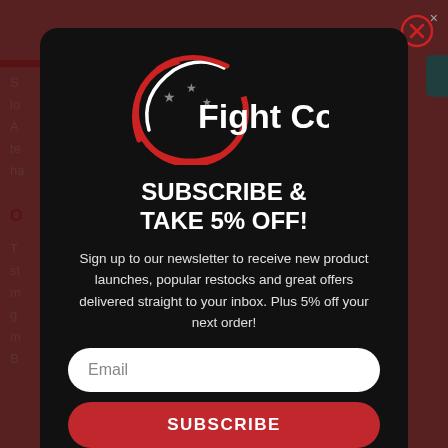[Figure (logo): Fight Co logo with red and white crescent swoosh and three stars]
SUBSCRIBE & TAKE 5% OFF!
Sign up to our newsletter to receive new product launches, popular restocks and great offers delivered straight to your inbox. Plus 5% off your next order!
Email
SUBSCRIBE